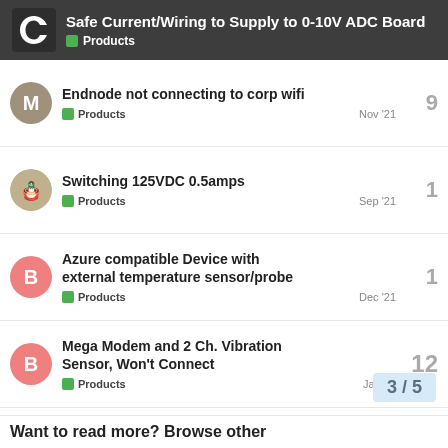Safe Current/Wiring to Supply to 0-10V ADC Board — Products
Endnode not connecting to corp wifi — Products — Nov '21 — 9 replies
Switching 125VDC 0.5amps — Products — Sep '21 — 1 reply
Azure compatible Device with external temperature sensor/probe — Products — Dec '21 — 1 reply
Mega Modem and 2 Ch. Vibration Sensor, Won't Connect — Products — Jan 12 — 12 replies
Azure IoT Hub LoRa gateway — Products — Dec '21 — 4 replies
3 / 5
Want to read more? Browse other